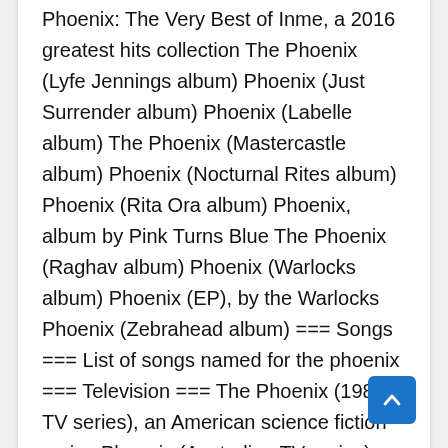Phoenix: The Very Best of Inme, a 2016 greatest hits collection The Phoenix (Lyfe Jennings album) Phoenix (Just Surrender album) Phoenix (Labelle album) The Phoenix (Mastercastle album) Phoenix (Nocturnal Rites album) Phoenix (Rita Ora album) Phoenix, album by Pink Turns Blue The Phoenix (Raghav album) Phoenix (Warlocks album) Phoenix (EP), by the Warlocks Phoenix (Zebrahead album) === Songs === List of songs named for the phoenix === Television === The Phoenix (1982 TV series), an American science fiction series Phoenix (Australian TV series), an Australian police drama Phoenix (South Korean TV series), a 2004 Korean drama "Phoenix", the 1986 premiere episode of The Adventures of the Galaxy Rangers "The Phoenix", a 1995 episode